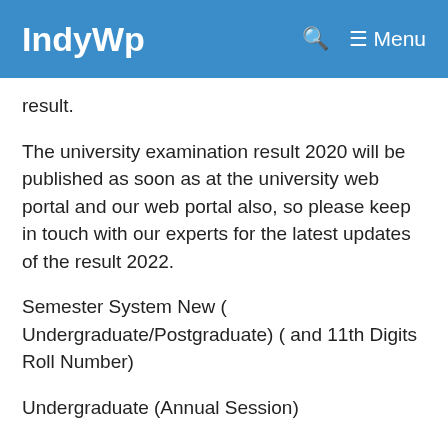IndyWp  Menu
result.
The university examination result 2020 will be published as soon as at the university web portal and our web portal also, so please keep in touch with our experts for the latest updates of the result 2022.
Semester System New  ( Undergraduate/Postgraduate) ( and 11th Digits Roll Number)
Undergraduate  (Annual Session)